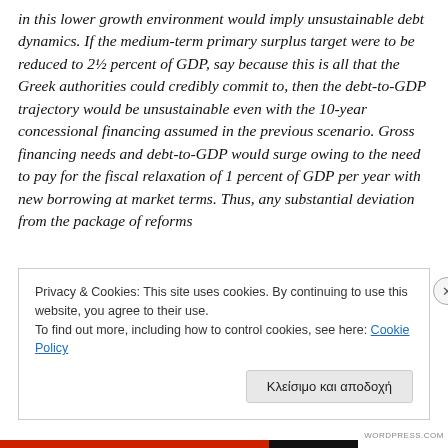in this lower growth environment would imply unsustainable debt dynamics. If the medium-term primary surplus target were to be reduced to 2½ percent of GDP, say because this is all that the Greek authorities could credibly commit to, then the debt-to-GDP trajectory would be unsustainable even with the 10-year concessional financing assumed in the previous scenario. Gross financing needs and debt-to-GDP would surge owing to the need to pay for the fiscal relaxation of 1 percent of GDP per year with new borrowing at market terms. Thus, any substantial deviation from the package of reforms
Privacy & Cookies: This site uses cookies. By continuing to use this website, you agree to their use.
To find out more, including how to control cookies, see here: Cookie Policy
Κλείσιμο και αποδοχή